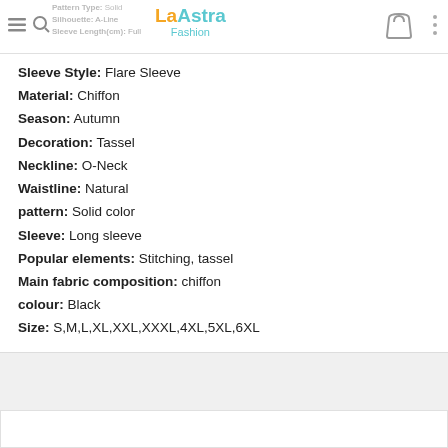Pattern Type: Solid | Silhouette: A-Line | Sleeve Length(cm): Full | La Astra Fashion logo
Sleeve Style: Flare Sleeve
Material: Chiffon
Season: Autumn
Decoration: Tassel
Neckline: O-Neck
Waistline: Natural
pattern: Solid color
Sleeve: Long sleeve
Popular elements: Stitching, tassel
Main fabric composition: chiffon
colour: Black
Size: S,M,L,XL,XXL,XXXL,4XL,5XL,6XL